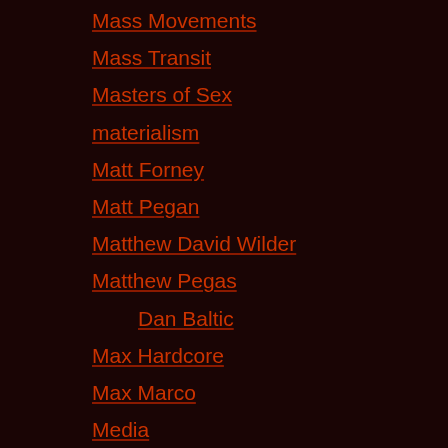Mass Movements
Mass Transit
Masters of Sex
materialism
Matt Forney
Matt Pegan
Matthew David Wilder
Matthew Pegas
Dan Baltic
Max Hardcore
Max Marco
Media
meditation
Mel Gibson
Memes